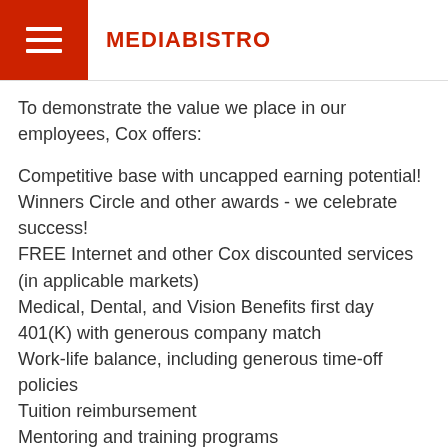MEDIABISTRO
To demonstrate the value we place in our employees, Cox offers:
Competitive base with uncapped earning potential!
Winners Circle and other awards - we celebrate success!
FREE Internet and other Cox discounted services (in applicable markets)
Medical, Dental, and Vision Benefits first day
401(K) with generous company match
Work-life balance, including generous time-off policies
Tuition reimbursement
Mentoring and training programs
Commitment to our communities through employee volunteer opportunities
Career advancement across more than 300 businesses in the Cox Enterprises portfolio